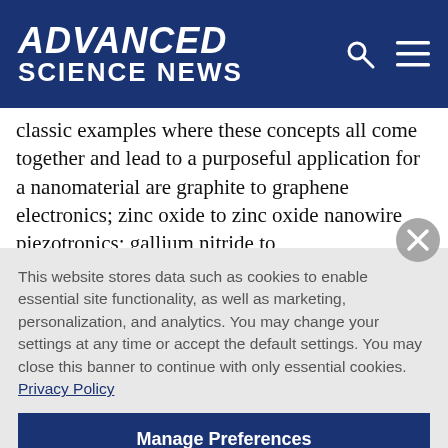ADVANCED SCIENCE NEWS
classic examples where these concepts all come together and lead to a purposeful application for a nanomaterial are graphite to graphene electronics; zinc oxide to zinc oxide nanowire piezotronics; gallium nitride to
This website stores data such as cookies to enable essential site functionality, as well as marketing, personalization, and analytics. You may change your settings at any time or accept the default settings. You may close this banner to continue with only essential cookies. Privacy Policy
Manage Preferences
Accept All
Reject All